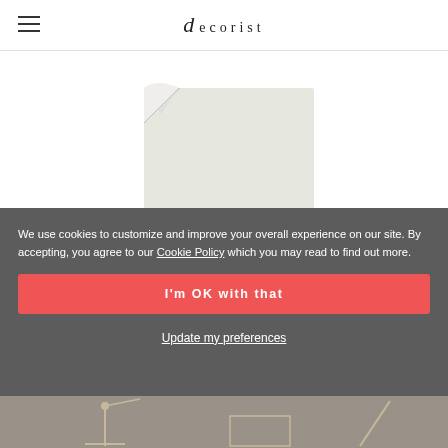decorist
[Figure (photo): Product image of a light gray/off-white fabric or material swatch with a curled corner, shown against a white background]
We use cookies to customize and improve your overall experience on our site. By accepting, you agree to our Cookie Policy which you may read to find out more.
I'm OK with that
Update my preferences
[Figure (photo): Partial view of product thumbnails at bottom of page, showing furniture/decor items, partially obscured by cookie banner]